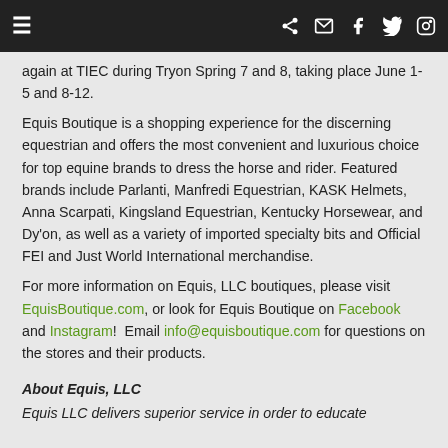≡ (share) (email) (facebook) (twitter) (instagram)
Equis Boutique will offer the Debut Presented Nelson with again at TIEC during Tryon Spring 7 and 8, taking place June 1-5 and 8-12.
Equis Boutique is a shopping experience for the discerning equestrian and offers the most convenient and luxurious choice for top equine brands to dress the horse and rider. Featured brands include Parlanti, Manfredi Equestrian, KASK Helmets, Anna Scarpati, Kingsland Equestrian, Kentucky Horsewear, and Dy'on, as well as a variety of imported specialty bits and Official FEI and Just World International merchandise.
For more information on Equis, LLC boutiques, please visit EquisBoutique.com, or look for Equis Boutique on Facebook and Instagram!  Email info@equisboutique.com for questions on the stores and their products.
About Equis, LLC
Equis LLC delivers superior service in order to educate